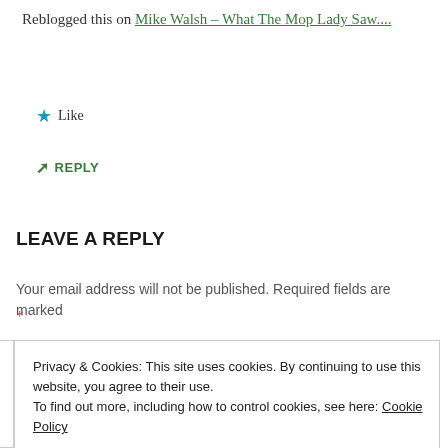Reblogged this on Mike Walsh – What The Mop Lady Saw....
★ Like
➦ REPLY
LEAVE A REPLY
Your email address will not be published. Required fields are marked *
Privacy & Cookies: This site uses cookies. By continuing to use this website, you agree to their use. To find out more, including how to control cookies, see here: Cookie Policy
Close and accept